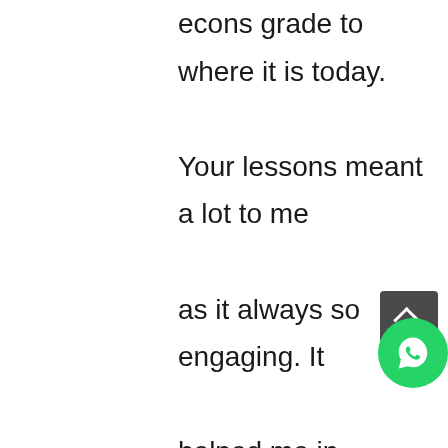econs grade to where it is today. Your lessons meant a lot to me as it always so engaging. It helped me in remembering the econs concepts that used to be hard to remember. I appreciated how you would ask us a lot of questions in class as it made me motivated to be prepared for class. But it’s the effort we all put in during class time that helped me achieved my A. Your notes are “success notes”! The were great! I couldn’t thank you more. And lastly, HAVE FAITH